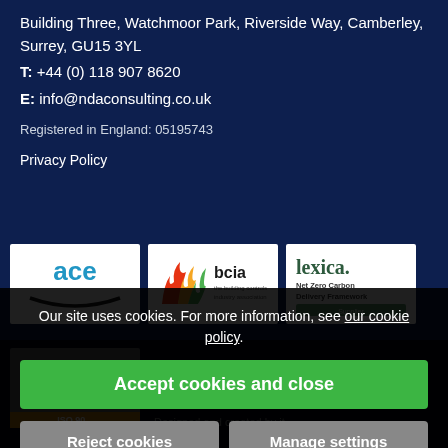Building Three, Watchmoor Park, Riverside Way, Camberley, Surrey, GU15 3YL
T: +44 (0) 118 907 8620
E: info@ndaconsulting.co.uk
Registered in England: 05195743
Privacy Policy
[Figure (logo): ACE logo - blue arc with 'ace' text]
[Figure (logo): BCIA - the building controls industry association logo with colourful flame graphic]
[Figure (logo): Lexica. Net Zero Carbon Delivery Framework logo]
Our site uses cookies. For more information, see our cookie policy.
Accept cookies and close
Reject cookies
Manage settings
Designed and created by it...